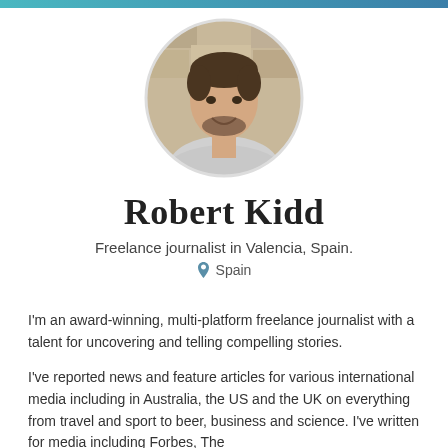[Figure (photo): Circular profile photo of a young man with a beard, wearing a light grey t-shirt, standing in front of a stone wall background.]
Robert Kidd
Freelance journalist in Valencia, Spain.
Spain
I'm an award-winning, multi-platform freelance journalist with a talent for uncovering and telling compelling stories.
I've reported news and feature articles for various international media including in Australia, the US and the UK on everything from travel and sport to beer, business and science. I've written for media including Forbes, The